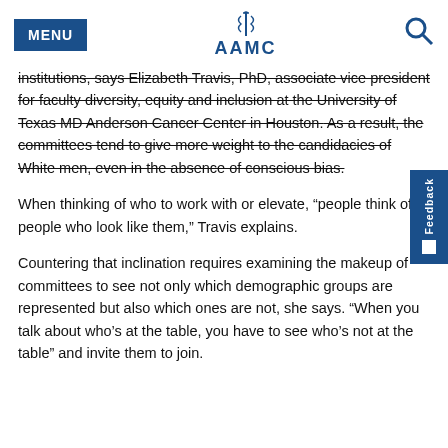MENU | AAMC | [search icon]
institutions, says Elizabeth Travis, PhD, associate vice president for faculty diversity, equity and inclusion at the University of Texas MD Anderson Cancer Center in Houston. As a result, the committees tend to give more weight to the candidacies of White men, even in the absence of conscious bias.
When thinking of who to work with or elevate, “people think of people who look like them,” Travis explains.
Countering that inclination requires examining the makeup of committees to see not only which demographic groups are represented but also which ones are not, she says. “When you talk about who’s at the table, you have to see who’s not at the table” and invite them to join.